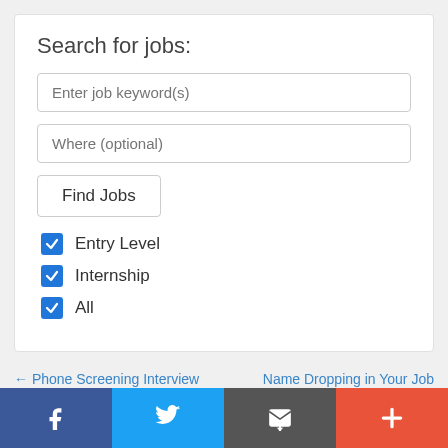Search for jobs:
Enter job keyword(s)
Where (optional)
Find Jobs
Entry Level (checked)
Internship (checked)
All (checked)
← Phone Screening Interview Answers
Name Dropping in Your Job Search →
[Figure (infographic): Social share bar with Facebook, Twitter, Email, and Plus (+) buttons]